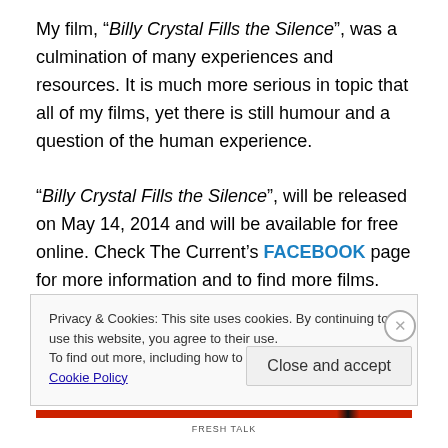My film, “Billy Crystal Fills the Silence”, was a culmination of many experiences and resources. It is much more serious in topic that all of my films, yet there is still humour and a question of the human experience.

“Billy Crystal Fills the Silence”, will be released on May 14, 2014 and will be available for free online. Check The Current’s FACEBOOK page for more information and to find more films.
Privacy & Cookies: This site uses cookies. By continuing to use this website, you agree to their use.
To find out more, including how to control cookies, see here: Cookie Policy
Close and accept